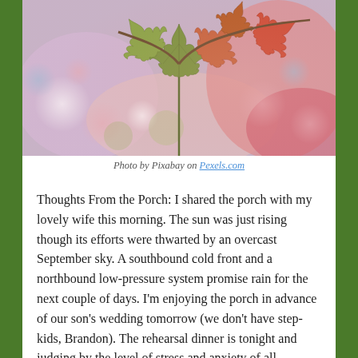[Figure (photo): Close-up photograph of autumn maple leaves with bokeh background. Leaves show green, yellow, and orange-red colors against a soft blurry background of pink, purple, and green bokeh circles.]
Photo by Pixabay on Pexels.com
Thoughts From the Porch: I shared the porch with my lovely wife this morning. The sun was just rising though its efforts were thwarted by an overcast September sky. A southbound cold front and a northbound low-pressure system promise rain for the next couple of days. I'm enjoying the porch in advance of our son's wedding tomorrow (we don't have step-kids, Brandon). The rehearsal dinner is tonight and judging by the level of stress and anxiety of all involved, I'm